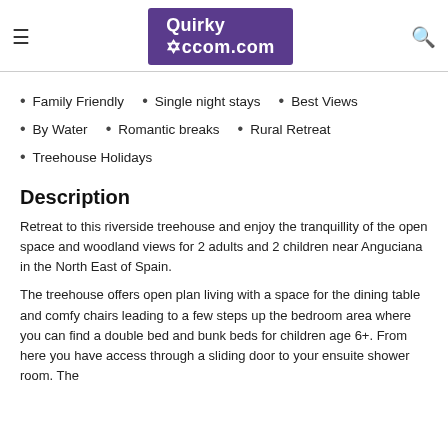QuirkyAccom.com
Family Friendly
Single night stays
Best Views
By Water
Romantic breaks
Rural Retreat
Treehouse Holidays
Description
Retreat to this riverside treehouse and enjoy the tranquillity of the open space and woodland views for 2 adults and 2 children near Anguciana in the North East of Spain.
The treehouse offers open plan living with a space for the dining table and comfy chairs leading to a few steps up the bedroom area where you can find a double bed and bunk beds for children age 6+. From here you have access through a sliding door to your ensuite shower room. The